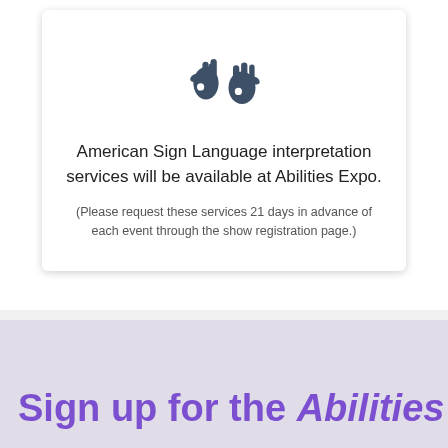[Figure (illustration): ASL (American Sign Language) hands icon showing two hands making sign language gestures, dark blue-gray color]
American Sign Language interpretation services will be available at Abilities Expo.
(Please request these services 21 days in advance of each event through the show registration page.)
Sign up for the Abilities